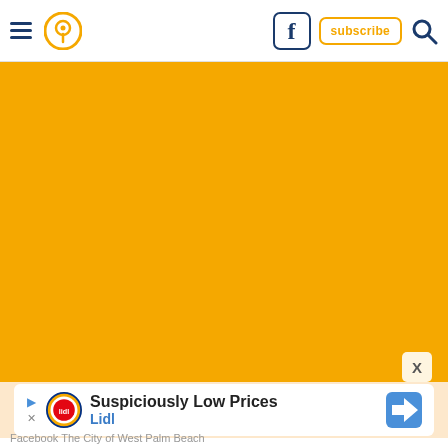Navigation header with hamburger menu, location pin icon, Facebook button, subscribe button, and search icon
[Figure (other): Large orange/golden rectangle filling the main content area, representing an image or media placeholder]
[Figure (infographic): Advertisement strip for Lidl: 'Suspiciously Low Prices' with Lidl logo and navigation arrow icon]
Facebook The City of West Palm Beach